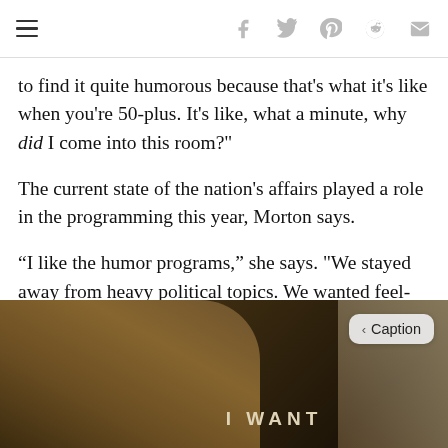Navigation and social share icons bar
to find it quite humorous because that's what it's like when you're 50-plus. It's like, what a minute, why did I come into this room?"
The current state of the nation's affairs played a role in the programming this year, Morton says.
“I like the humor programs,” she says. "We stayed away from heavy political topics. We wanted feel-good programs. People right now need a laugh.”
[Figure (photo): Sepia-toned vintage photograph of people, with text overlay 'I WANT' and a Caption button overlay in the top right corner.]